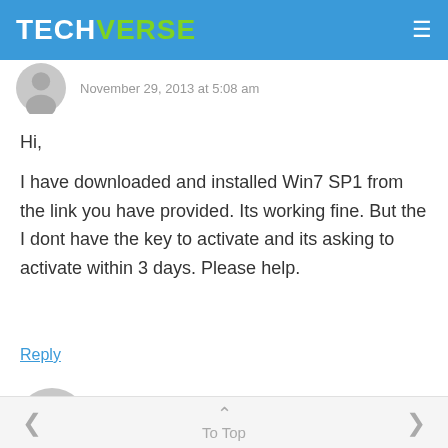TECHVERSE
November 29, 2013 at 5:08 am
Hi,
I have downloaded and installed Win7 SP1 from the link you have provided. Its working fine. But the I dont have the key to activate and its asking to activate within 3 days. Please help.
Reply
LOVEJEET
December 2, 2013 at 2:21 pm
< To Top >